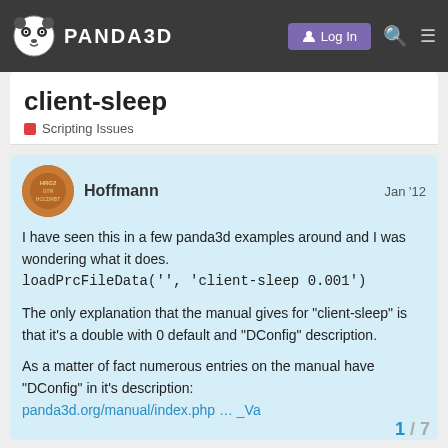PANDA3D — Log In
client-sleep
Scripting Issues
Hoffmann   Jan '12
I have seen this in a few panda3d examples around and I was wondering what it does.
loadPrcFileData('', 'client-sleep 0.001')

The only explanation that the manual gives for "client-sleep" is that it's a double with 0 default and "DConfig" description.

As a matter of fact numerous entries on the manual have "DConfig" in it's description:
panda3d.org/manual/index.php … _Va

1 / 7